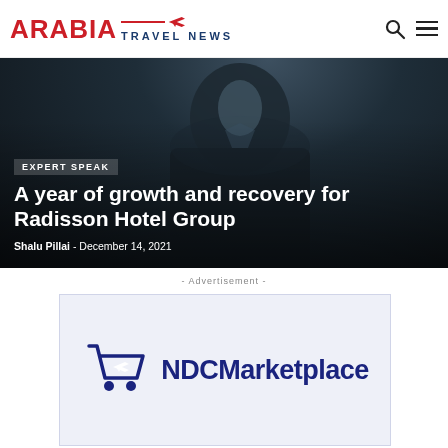ARABIA TRAVEL NEWS
[Figure (photo): Man in dark suit with arms crossed, dark background, hero image for article]
EXPERT SPEAK
A year of growth and recovery for Radisson Hotel Group
Shalu Pillai - December 14, 2021
- Advertisement -
[Figure (logo): NDCMarketplace logo with shopping cart icon containing airplane symbol and text NDCMarketplace in dark navy blue]